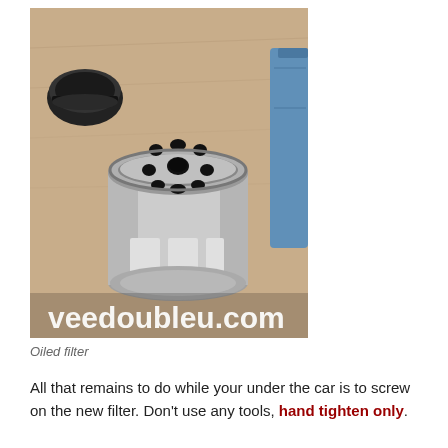[Figure (photo): Photo of an oiled oil filter (cylindrical silver metal filter canister) lying on a cardboard surface, with a black cap to the upper left and a blue container partially visible on the right. The watermark 'veedoubleu.com' appears in large white text at the bottom of the image.]
Oiled filter
All that remains to do while your under the car is to screw on the new filter. Don't use any tools, hand tighten only.